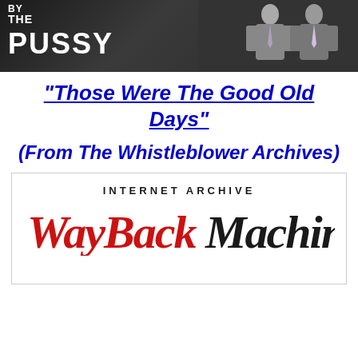[Figure (photo): Movie poster style image with large white text reading 'BY THE PUSSY' on dark background, with men in suits on the right side]
“Those Were The Good Old Days”
(From The Whistleblower Archives)
[Figure (logo): Internet Archive Wayback Machine logo - black text 'INTERNET ARCHIVE' above red and black stylized 'WayBack Machine' text]